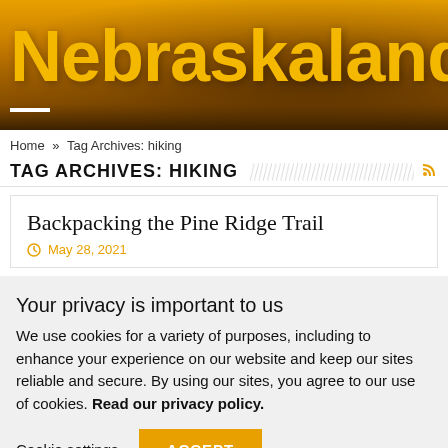[Figure (screenshot): Nebraskaland website header banner with golden/amber landscape background and large yellow 'Nebraskaland' title text]
Home » Tag Archives: hiking
TAG ARCHIVES: HIKING
Backpacking the Pine Ridge Trail
May 28, 2021
Your privacy is important to us
We use cookies for a variety of purposes, including to enhance your experience on our website and keep our sites reliable and secure. By using our sites, you agree to our use of cookies. Read our privacy policy.
Cookie settings
ACCEPT